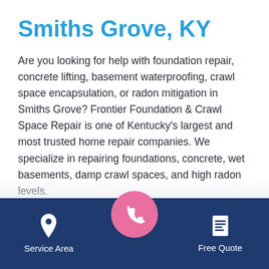Smiths Grove, KY
Are you looking for help with foundation repair, concrete lifting, basement waterproofing, crawl space encapsulation, or radon mitigation in Smiths Grove? Frontier Foundation & Crawl Space Repair is one of Kentucky’s largest and most trusted home repair companies. We specialize in repairing foundations, concrete, wet basements, damp crawl spaces, and high radon levels.
Learn about the services we provide in Smiths Grove and the surrounding area, or call us today to schedule your free inspection and estimate!
[Figure (infographic): Dark blue footer navigation bar with three items: a location pin icon labeled 'Service Area' on the left, a pink circle with a phone handset icon in the center (raised above the bar), and a document/quote icon labeled 'Free Quote' on the right.]